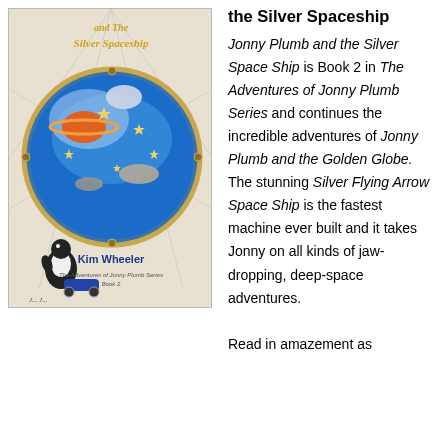[Figure (illustration): Book cover of 'Jonny Plumb and the Silver Spaceship' by Kim Wheeler. Shows a space scene with planets, stars, and a penguin-like character. The Adventures of Jonny Plumb Series Book 2.]
the Silver Spaceship
Jonny Plumb and the Silver Space Ship is Book 2 in The Adventures of Jonny Plumb Series and continues the incredible adventures of Jonny Plumb and the Golden Globe. The stunning Silver Flying Arrow Space Ship is the fastest machine ever built and it takes Jonny on all kinds of jaw-dropping, deep-space adventures.

Read in amazement as